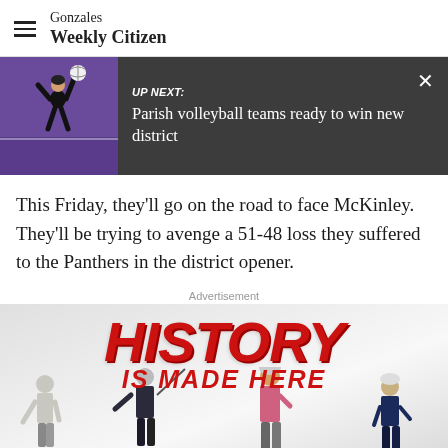Gonzales Weekly Citizen
[Figure (screenshot): UP NEXT banner with volleyball player photo. Headline: Parish volleyball teams ready to win new district]
This Friday, they'll go on the road to face McKinley. They'll be trying to avenge a 51-48 loss they suffered to the Panthers in the district opener.
Advertisement
[Figure (photo): Advertisement banner: HISTORY IS MADE HERE with golfers]